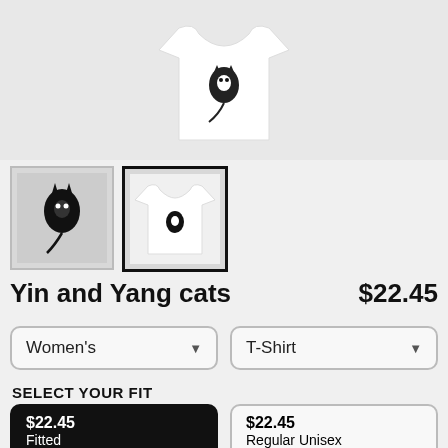[Figure (photo): White t-shirt product photo on light background]
[Figure (photo): Thumbnail 1: Yin and Yang cats design close-up]
[Figure (photo): Thumbnail 2: White t-shirt with Yin and Yang cats design, selected]
Yin and Yang cats
$22.45
Women's
T-Shirt
SELECT YOUR FIT
$22.45
Fitted
$22.45
Regular Unisex